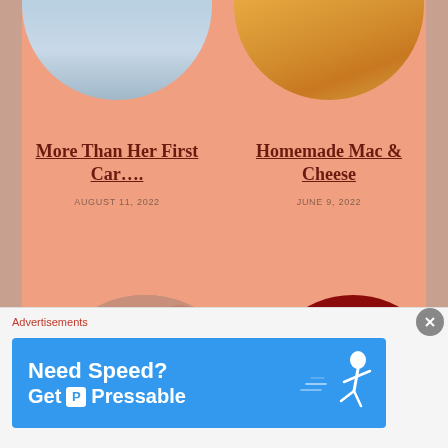[Figure (photo): Circular cropped photo of a person in blue shirt (top half cropped)]
[Figure (photo): Circular cropped photo of mac and cheese in a dish]
More Than Her First Car….
AUGUST 11, 2022
Homemade Mac & Cheese
JUNE 9, 2022
[Figure (photo): Circular cropped photo of a foot/heel close-up]
[Figure (photo): Dark red circle with camera placeholder icon in center]
Advertisements
[Figure (screenshot): Advertisement banner: Need Speed? Get Pressable — blue background with running figure]